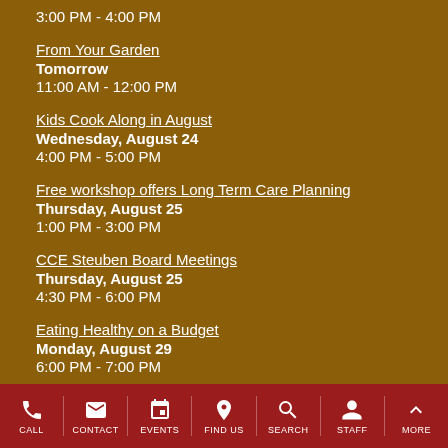3:00 PM - 4:00 PM
From Your Garden
Tomorrow
11:00 AM - 12:00 PM
Kids Cook Along in August
Wednesday, August 24
4:00 PM - 5:00 PM
Free workshop offers Long Term Care Planning
Thursday, August 25
1:00 PM - 3:00 PM
CCE Steuben Board Meetings
Thursday, August 25
4:30 PM - 6:00 PM
Eating Healthy on a Budget
Monday, August 29
6:00 PM - 7:00 PM
Quick and Easy Summer Recipes
Monday, August 29
CALL  CONTACT  EVENTS  FIND US  SEARCH  STAFF  MORE